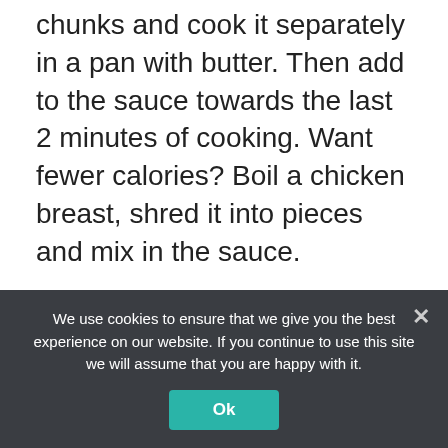chunks and cook it separately in a pan with butter. Then add to the sauce towards the last 2 minutes of cooking. Want fewer calories? Boil a chicken breast, shred it into pieces and mix in the sauce.
Bacon is another great ingredient to add to this sauce. Add it to the sauce just like you would add it to a Carbonara. Cook it in a non-stick pan without any additional fat (oil or butter) letting it release its own fat and cook in it until it gets a real deep color and becomes very crispy.
We use cookies to ensure that we give you the best experience on our website. If you continue to use this site we will assume that you are happy with it.